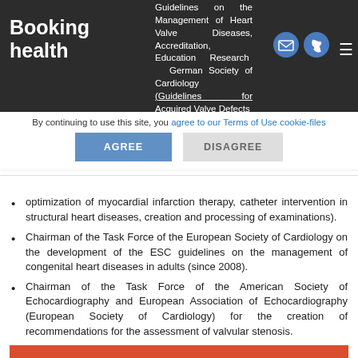Booking health — Guidelines on the Management of Heart Valve Diseases, Accreditation, Education, Research — German Society of Cardiology (Guidelines for Acquired Valve Defects
By continuing to use this site, you agree to our Terms of Use cookie-files
AGREE | DISAGREE
optimization of myocardial infarction therapy, catheter intervention in structural heart diseases, creation and processing of examinations).
Chairman of the Task Force of the European Society of Cardiology on the development of the ESC guidelines on the management of congenital heart diseases in adults (since 2008).
Chairman of the Task Force of the American Society of Echocardiography and European Association of Echocardiography (European Society of Cardiology) for the creation of recommendations for the assessment of valvular stenosis.
Treatment request
Editorial Board Member, European Journal of